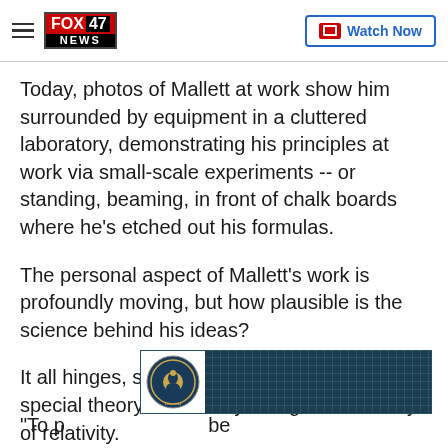FOX 47 NEWS | Watch Now
Today, photos of Mallett at work show him surrounded by equipment in a cluttered laboratory, demonstrating his principles at work via small-scale experiments -- or standing, beaming, in front of chalk boards where he's etched out his formulas.
The personal aspect of Mallett's work is profoundly moving, but how plausible is the science behind his ideas?
It all hinges, says Mallett, on Einstein's special theory of relativity and general theory of relativity.
[Figure (other): Advertisement banner with official seal/logo on left and decorative pattern background]
"To p... be